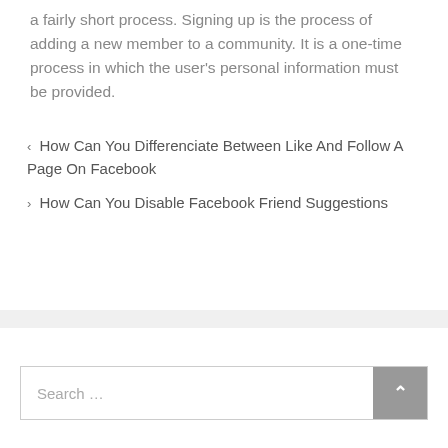a fairly short process. Signing up is the process of adding a new member to a community. It is a one-time process in which the user's personal information must be provided.
< How Can You Differenciate Between Like And Follow A Page On Facebook
> How Can You Disable Facebook Friend Suggestions
Search …